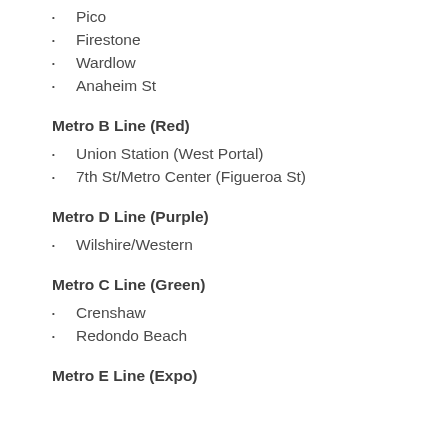Pico
Firestone
Wardlow
Anaheim St
Metro B Line (Red)
Union Station (West Portal)
7th St/Metro Center (Figueroa St)
Metro D Line (Purple)
Wilshire/Western
Metro C Line (Green)
Crenshaw
Redondo Beach
Metro E Line (Expo)